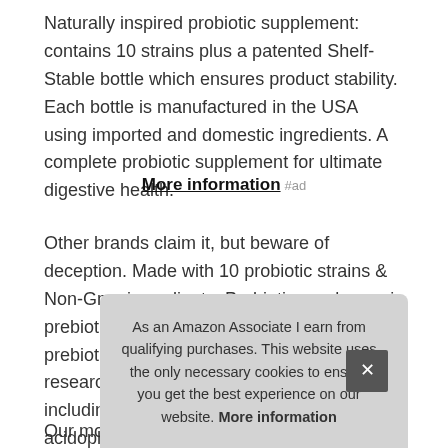Naturally inspired probiotic supplement: contains 10 strains plus a patented Shelf-Stable bottle which ensures product stability. Each bottle is manufactured in the USA using imported and domestic ingredients. A complete probiotic supplement for ultimate digestive health.
More information #ad
Other brands claim it, but beware of deception. Made with 10 probiotic strains & Non-Gmo ingredients. Probiotics and organic prebiotics: our probiotics are made with prebiotics and probiotics based on clinical research. Acidophilus probiotic with prebiotic including 10 strains: Lactobacillus acidophilus, Bific... plan... Bific... para...
Our most popular probiotic brings you exactly what's on the
As an Amazon Associate I earn from qualifying purchases. This website uses the only necessary cookies to ensure you get the best experience on our website. More information